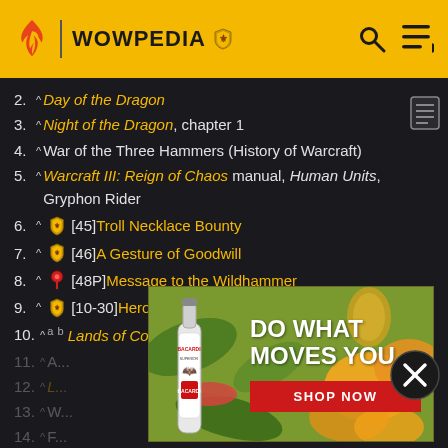WOWPEDIA
2. ^ Day of the Dragon
3. ^ Night of the Dragon, chapter 1
4. ^ War of the Three Hammers (History of Warcraft)
5. ^ Warcraft III: Reign of Chaos manual, Human Units, Gryphon Rider
6. ^ [45] Troll Necklace Bounty
7. ^ [46] A Gesture of Goodwill
8. ^ [48P] Message to the Wildhammer
9. ^ [10-30] Hero's Call: The Hinterlands!
10. ^ a b Lands of Conflict, pg. 100
11. ^ A...
12. ^ L...
13. ^ W...
14. ^ F...
15. ^ Lands of Conflict, pg. 100
[Figure (photo): Bacardi advertisement: DO WHAT MOVES YOU with Shop Now button]